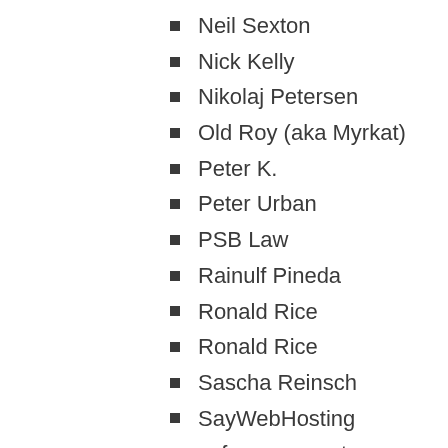Neil Sexton
Nick Kelly
Nikolaj Petersen
Old Roy (aka Myrkat)
Peter K.
Peter Urban
PSB Law
Rainulf Pineda
Ronald Rice
Ronald Rice
Sascha Reinsch
SayWebHosting
sefcom computers